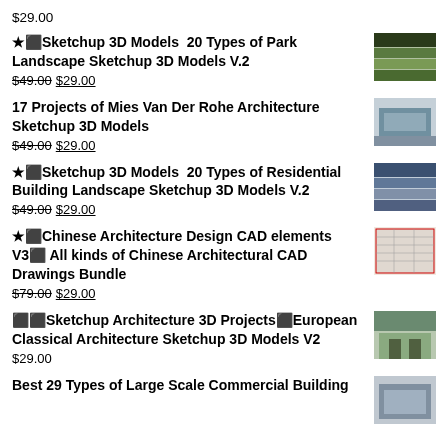$29.00
★⬛Sketchup 3D Models 20 Types of Park Landscape Sketchup 3D Models V.2 — $49.00 $29.00
17 Projects of Mies Van Der Rohe Architecture Sketchup 3D Models — $49.00 $29.00
★⬛Sketchup 3D Models 20 Types of Residential Building Landscape Sketchup 3D Models V.2 — $49.00 $29.00
★⬛Chinese Architecture Design CAD elements V3⬛ All kinds of Chinese Architectural CAD Drawings Bundle — $79.00 $29.00
⬛⬛Sketchup Architecture 3D Projects⬛European Classical Architecture Sketchup 3D Models V2 — $29.00
Best 29 Types of Large Scale Commercial Building